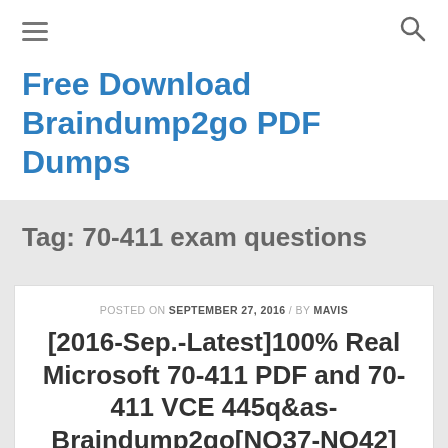≡  🔍
Free Download Braindump2go PDF Dumps
Tag: 70-411 exam questions
POSTED ON SEPTEMBER 27, 2016 / BY MAVIS
[2016-Sep.-Latest]100% Real Microsoft 70-411 PDF and 70-411 VCE 445q&as-Braindump2go[NO37-NO42]